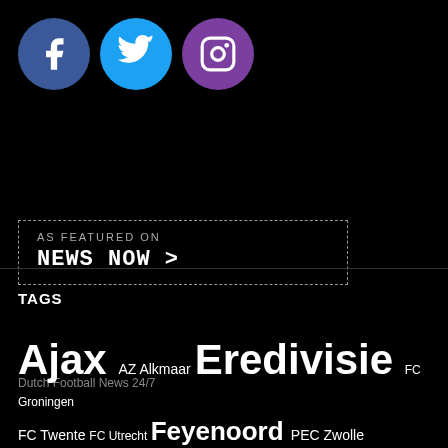[Figure (logo): Three social media circular icons: Facebook (blue), Twitter (teal), Instagram (purple)]
[Figure (logo): News Now badge - 'AS FEATURED ON / NEWS NOW >' in dashed border box]
Dutch Football News 24/7
TAGS
Ajax AZ Alkmaar Eredivisie FC Groningen FC Twente FC Utrecht Feyenoord PEC Zwolle PSV Vitesse